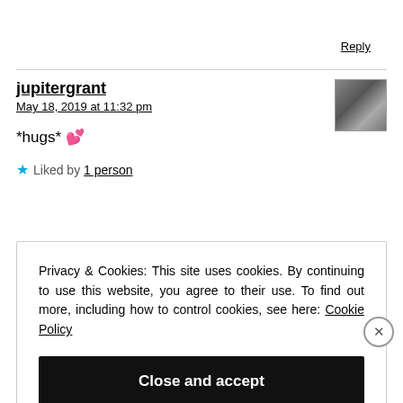Reply
jupitergrant
May 18, 2019 at 11:32 pm
[Figure (photo): Small black and white avatar thumbnail showing hands]
*hugs* 💕
★ Liked by 1 person
Privacy & Cookies: This site uses cookies. By continuing to use this website, you agree to their use. To find out more, including how to control cookies, see here: Cookie Policy
Close and accept